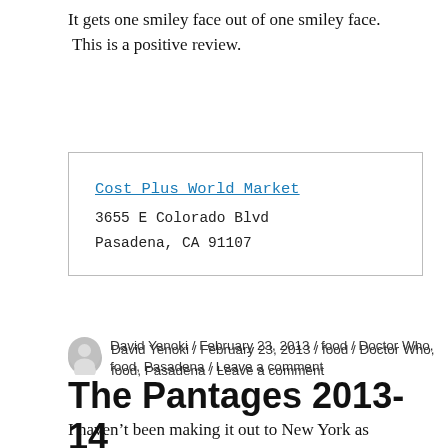It gets one smiley face out of one smiley face. This is a positive review.
| Cost Plus World Market | 3655 E Colorado Blvd | Pasadena, CA 91107 |
David Yenoki / February 23, 2013 / food / Doctor Who, food, Pasadena / Leave a comment
The Pantages 2013-14 Season
I haven't been making it out to New York as